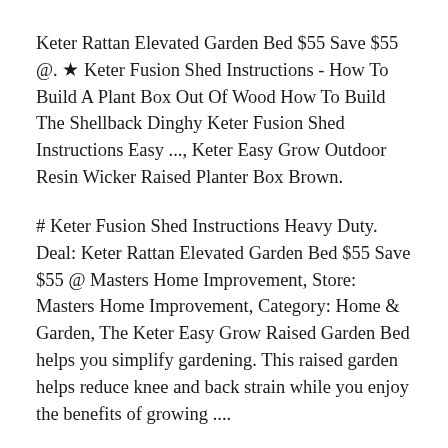Keter Rattan Elevated Garden Bed $55 Save $55 @. ★ Keter Fusion Shed Instructions - How To Build A Plant Box Out Of Wood How To Build The Shellback Dinghy Keter Fusion Shed Instructions Easy ..., Keter Easy Grow Outdoor Resin Wicker Raised Planter Box Brown.
# Keter Fusion Shed Instructions Heavy Duty. Deal: Keter Rattan Elevated Garden Bed $55 Save $55 @ Masters Home Improvement, Store: Masters Home Improvement, Category: Home & Garden, The Keter Easy Grow Raised Garden Bed helps you simplify gardening. This raised garden helps reduce knee and back strain while you enjoy the benefits of growing ....